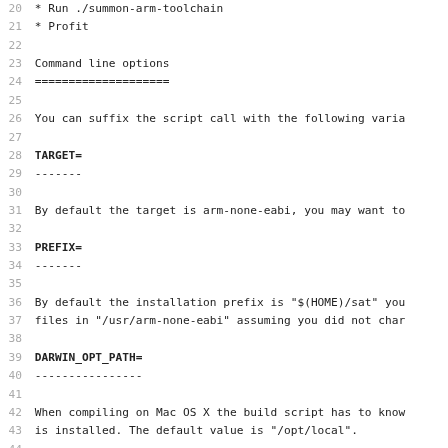20 * Run ./summon-arm-toolchain
21 * Profit
22
23 Command line options
24 ====================
25
26 You can suffix the script call with the following varia
27
28 TARGET=
29 -------
30
31 By default the target is arm-none-eabi, you may want to
32
33 PREFIX=
34 -------
35
36 By default the installation prefix is "$(HOME)/sat" you
37 files in "/usr/arm-none-eabi" assuming you did not char
38
39 DARWIN_OPT_PATH=
40 ----------------
41
42 When compiling on Mac OS X the build script has to know
43 is installed. The default value is "/opt/local".
44
45 SUDO=
46 -----
47
48 By default this variable is empty. If you need root rig
49 step you may set this variable to "sudo".
50
51   $ ./summon-arm-toolchain SUDO=sudo